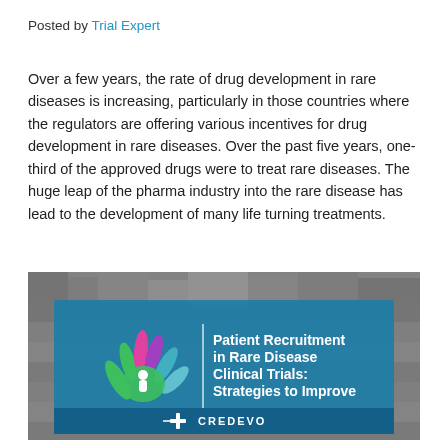Posted by Trial Expert
Over a few years, the rate of drug development in rare diseases is increasing, particularly in those countries where the regulators are offering various incentives for drug development in rare diseases. Over the past five years, one-third of the approved drugs were to treat rare diseases. The huge leap of the pharma industry into the rare disease has lead to the development of many life turning treatments.
[Figure (illustration): Promotional image with a crowd background and a blue overlay box containing a colorful hand/people logo and the text 'Patient Recruitment in Rare Disease Clinical Trials: Strategies to Improve' with Credevo branding at the bottom.]